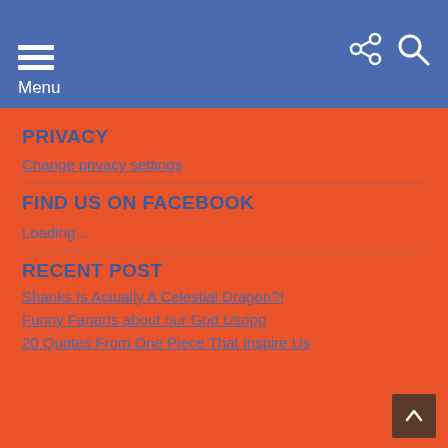Menu
PRIVACY
Change privacy settings
FIND US ON FACEBOOK
Loading...
RECENT POST
Shanks Is Actually A Celestial Dragon?!
Funny Fanarts about our God Usopp
20 Quotes From One Piece That Inspire Us